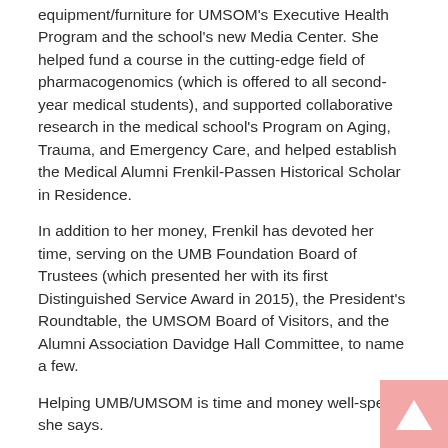equipment/furniture for UMSOM's Executive Health Program and the school's new Media Center. She helped fund a course in the cutting-edge field of pharmacogenomics (which is offered to all second-year medical students), and supported collaborative research in the medical school's Program on Aging, Trauma, and Emergency Care, and helped establish the Medical Alumni Frenkil-Passen Historical Scholar in Residence.
In addition to her money, Frenkil has devoted her time, serving on the UMB Foundation Board of Trustees (which presented her with its first Distinguished Service Award in 2015), the President's Roundtable, the UMSOM Board of Visitors, and the Alumni Association Davidge Hall Committee, to name a few.
Helping UMB/UMSOM is time and money well-spent, she says.
“Quite frankly, I can’t imagine anyone not embracing an opportunity to be actively involved with this renowned institution,” Frenkil says. “The continuous ‘pursuit of excellence’ is evidenced in all we do … from cutting-edge research, into the classroom, and throughout the schools/campus. It doesn’t get any better than this. The opportunity to be personally and financially engaged makes it possible for me to, hopefully, have a positive impact on our society, improving our quality of life. These are not just words … I live this every day.”
An entrepreneur in her own right, Frenkil acquired Center City, Inc., in 1997 and with business partner Mike Shecter runs the